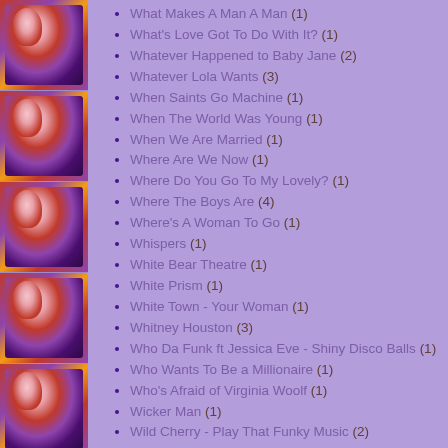What Makes A Man A Man (1)
What's Love Got To Do With It? (1)
Whatever Happened to Baby Jane (2)
Whatever Lola Wants (3)
When Saints Go Machine (1)
When The World Was Young (1)
When We Are Married (1)
Where Are We Now (1)
Where Do You Go To My Lovely? (1)
Where The Boys Are (4)
Where's A Woman To Go (1)
Whispers (1)
White Bear Theatre (1)
White Prism (1)
White Town - Your Woman (1)
Whitney Houston (3)
Who Da Funk ft Jessica Eve - Shiny Disco Balls (1)
Who Wants To Be a Millionaire (1)
Who's Afraid of Virginia Woolf (1)
Wicker Man (1)
Wild Cherry - Play That Funky Music (2)
Will Brooker (1)
Will Davis (4)